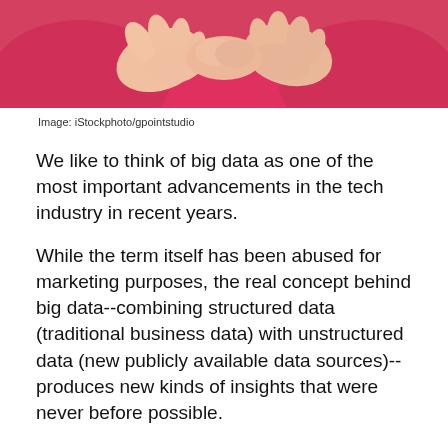[Figure (photo): Cropped photo of a person in a red/pink top with hands crossed over chest, only the torso and hands visible]
Image: iStockphoto/gpointstudio
We like to think of big data as one of the most important advancements in the tech industry in recent years.
While the term itself has been abused for marketing purposes, the real concept behind big data--combining structured data (traditional business data) with unstructured data (new publicly available data sources)--produces new kinds of insights that were never before possible.
That's what makes the magic happen. And, we're